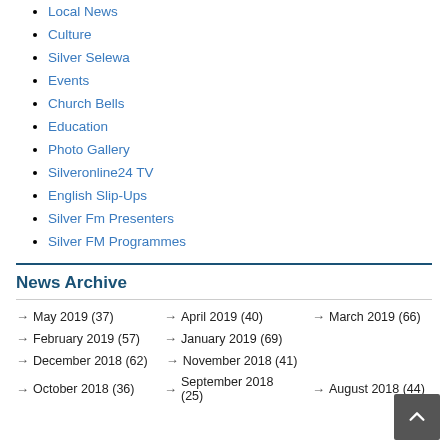Local News
Culture
Silver Selewa
Events
Church Bells
Education
Photo Gallery
Silveronline24 TV
English Slip-Ups
Silver Fm Presenters
Silver FM Programmes
News Archive
→ May 2019 (37)   → April 2019 (40)   → March 2019 (66)
→ February 2019 (57)   → January 2019 (69)
→ December 2018 (62)   → November 2018 (41)
→ October 2018 (36)   → September 2018 (25)   → August 2018 (44)